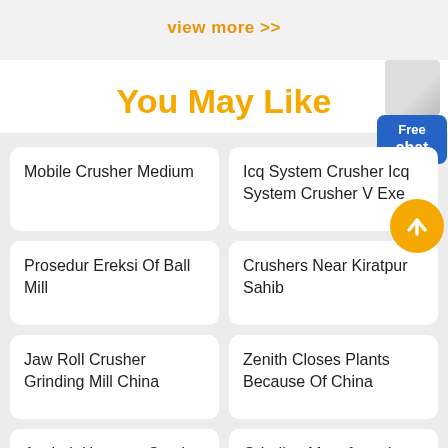view more >>
You May Like
Mobile Crusher Medium
Icq System Crusher Icq System Crusher V Exe
Prosedur Ereksi Of Ball Mill
Crushers Near Kiratpur Sahib
Jaw Roll Crusher Grinding Mill China
Zenith Closes Plants Because Of China
Asphalt Hammer Crusher Machine
Grinding Manufacturing Company In India